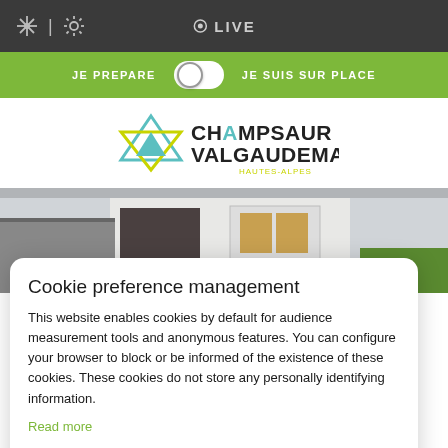LIVE
JE PREPARE   JE SUIS SUR PLACE
[Figure (logo): Champsaur Valgaudemar Hautes-Alpes logo with triangle mountain graphic]
[Figure (photo): Photo of a white building with wooden shutters and grey facade]
Cookie preference management
This website enables cookies by default for audience measurement tools and anonymous features. You can configure your browser to block or be informed of the existence of these cookies. These cookies do not store any personally identifying information.
Read more
I choose
Ok for me